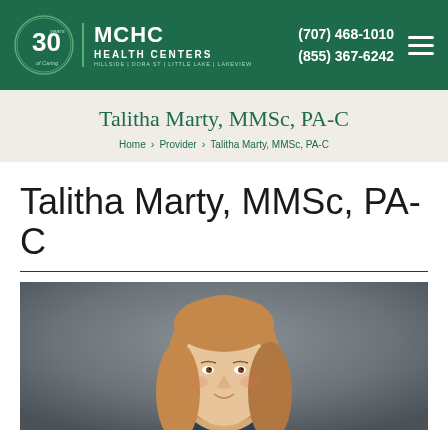[Figure (logo): MCHC Health Centers logo with 30 years of caring emblem, white text on dark green header background, phone numbers (707) 468-1010 and (855) 367-6242, hamburger menu icon]
Talitha Marty, MMSc, PA-C
Home › Provider › Talitha Marty, MMSc, PA-C
Talitha Marty, MMSc, PA-C
[Figure (photo): Professional headshot of Talitha Marty, a woman with long blonde-brown hair, photographed against a blurred gray background]